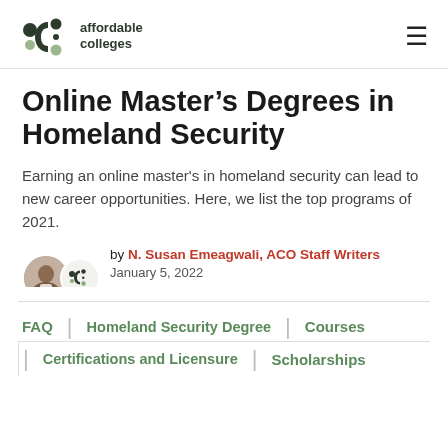affordable colleges
Online Master’s Degrees in Homeland Security
Earning an online master's in homeland security can lead to new career opportunities. Here, we list the top programs of 2021.
by N. Susan Emeagwali, ACO Staff Writers
January 5, 2022
Reviewed by ACO Rankings Team
FAQ | Homeland Security Degree | Courses | Certifications and Licensure | Scholarships